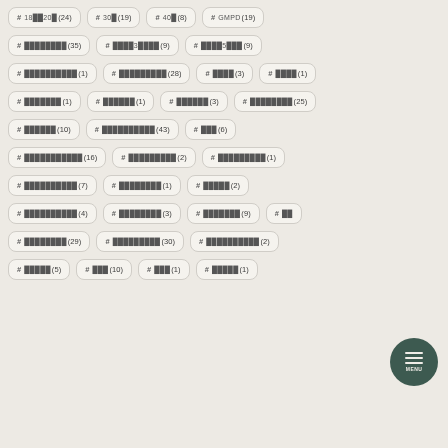# 18██20█(24)
# 30█(19)
# 40█(8)
# GMPD(19)
# ██████(35)
# ████3████(9)
# ████5███(9)
# █████████(1)
# █████████(28)
# ████(3)
# ████(1)
# ███████(1)
# ██████(1)
# ██████(3)
# ████████(25)
# ██████(10)
# ██████████(43)
# ███(6)
# ███████████(16)
# █████████(2)
# █████████(1)
# ██████████(7)
# ████████(1)
# █████(2)
# ██████████(4)
# ████████(3)
# ███████(9)
# ████████(29)
# █████████(30)
# ██████████(2)
# █████(5)
# ███(10)
# ███(1)
# █████(1)